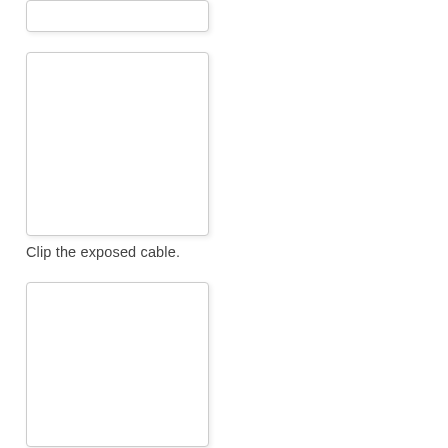[Figure (photo): Top image box - partial view of a procedure photo (cropped at top of page)]
[Figure (photo): Middle image box - procedure photo showing cable work]
Clip the exposed cable.
[Figure (photo): Bottom image box - procedure photo showing cable clipping]